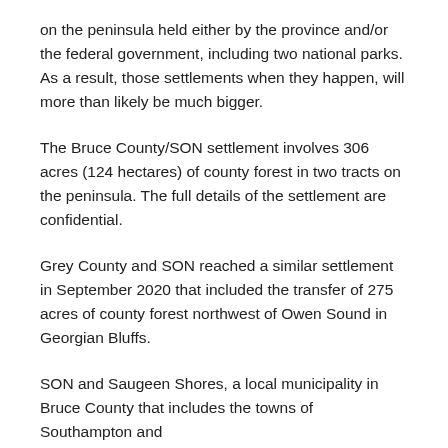on the peninsula held either by the province and/or the federal government, including two national parks. As a result, those settlements when they happen, will more than likely be much bigger.
The Bruce County/SON settlement involves 306 acres (124 hectares) of county forest in two tracts on the peninsula. The full details of the settlement are confidential.
Grey County and SON reached a similar settlement in September 2020 that included the transfer of 275 acres of county forest northwest of Owen Sound in Georgian Bluffs.
SON and Saugeen Shores, a local municipality in Bruce County that includes the towns of Southampton and